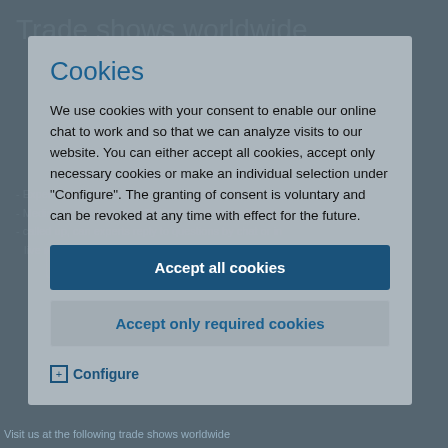Trade shows worldwide
Cookies
We use cookies with your consent to enable our online chat to work and so that we can analyze visits to our website. You can either accept all cookies, accept only necessary cookies or make an individual selection under "Configure". The granting of consent is voluntary and can be revoked at any time with effect for the future.
Accept all cookies
Accept only required cookies
⊞ Configure
Visit us at the following trade shows worldwide